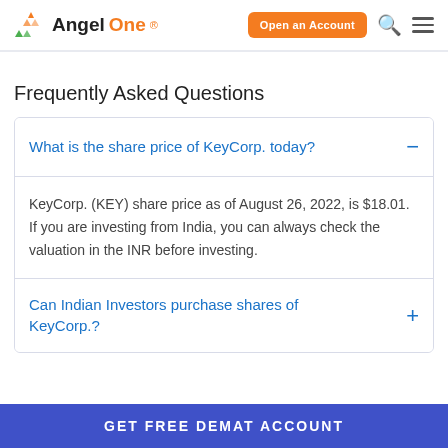AngelOne | Open an Account
Frequently Asked Questions
What is the share price of KeyCorp. today?
KeyCorp. (KEY) share price as of August 26, 2022, is $18.01. If you are investing from India, you can always check the valuation in the INR before investing.
Can Indian Investors purchase shares of KeyCorp.?
GET FREE DEMAT ACCOUNT